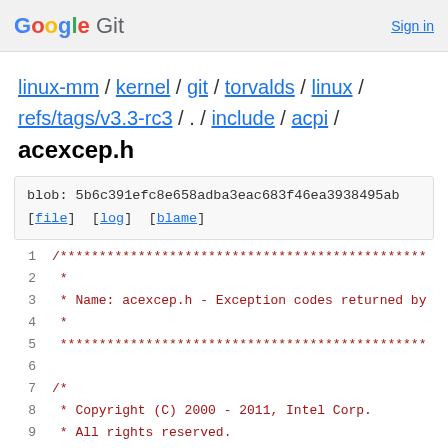Google Git   Sign in
linux-mm / kernel / git / torvalds / linux / refs/tags/v3.3-rc3 / . / include / acpi /
acexcep.h
blob: 5b6c391efc8e658adba3eac683f46ea3938495ab [file] [log] [blame]
1  /***********************************************
2   *
3   * Name: acexcep.h - Exception codes returned by
4   *
5   *********************************************
6  
7  /*
8   * Copyright (C) 2000 - 2011, Intel Corp.
9   * All rights reserved.
10  *